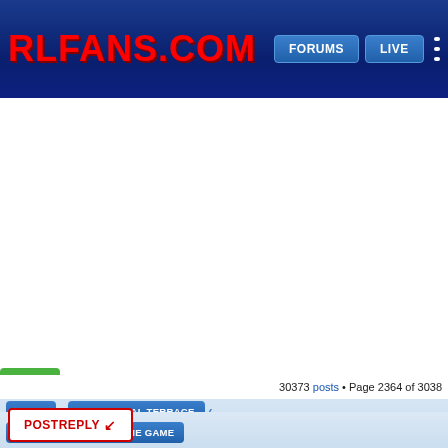RLFANS.COM — FORUMS | LIVE
[Figure (screenshot): White advertisement/content area in the middle of the page]
30373 posts • Page 2364 of 3038
HOME ‹ THE VIRTUAL TERRACE ‹
BORED: THE BAND NAME GAME
POSTREPLY